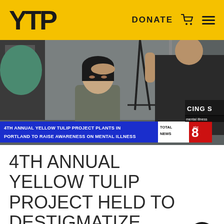YTP — DONATE
[Figure (photo): News broadcast screenshot showing a person placing their hand on another person's forehead at an outdoor event. Lower-third chyron reads: '4TH ANNUAL YELLOW TULIP PROJECT PLANTS IN PORTLAND TO RAISE AWARENESS ON MENTAL ILLNESS'. TOTAL NEWS 8 ABC logo visible.]
4TH ANNUAL YELLOW TULIP PROJECT HELD TO DESTIGMATIZE MENTAL ILLNESS